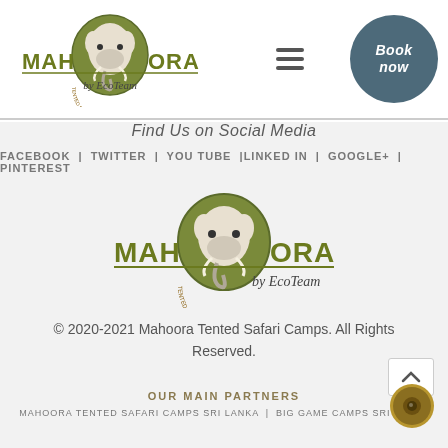[Figure (logo): Mahoora by EcoTeam tented safari camps logo with elephant head in olive circle, top-left header]
[Figure (logo): Book now button - dark teal circle with cursive white text]
Find Us on Social Media
FACEBOOK  |  TWITTER  |  YOU TUBE  | LINKED IN  |  GOOGLE+  |  PINTEREST
[Figure (logo): Large Mahoora by EcoTeam logo centered on page body]
© 2020-2021 Mahoora Tented Safari Camps. All Rights Reserved.
OUR MAIN PARTNERS
MAHOORA TENTED SAFARI CAMPS SRI LANKA  |  BIG GAME CAMPS SRI LANKA